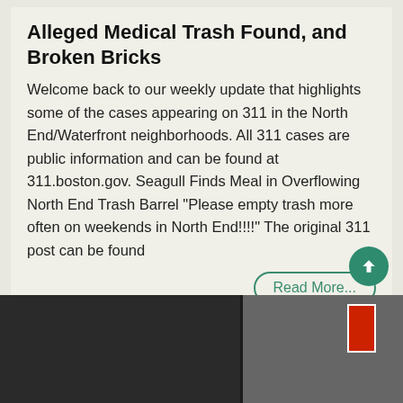Alleged Medical Trash Found, and Broken Bricks
Welcome back to our weekly update that highlights some of the cases appearing on 311 in the North End/Waterfront neighborhoods. All 311 cases are public information and can be found at 311.boston.gov. Seagull Finds Meal in Overflowing North End Trash Barrel “Please empty trash more often on weekends in North End!!!!” The original 311 post can be found
Read More...
Thu, Jul. 12, 2018   Chris Romano
Comments(4)
[Figure (photo): Bottom portion of the page showing a dark photograph of what appears to be street-level imagery.]